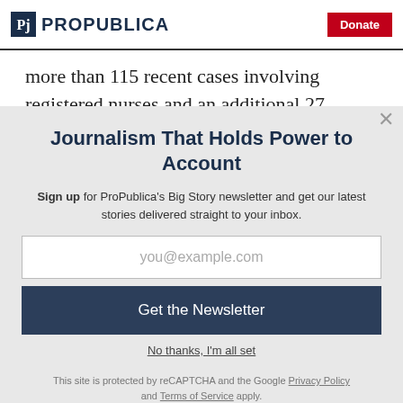ProPublica | Donate
more than 115 recent cases involving registered nurses and an additional 27
Journalism That Holds Power to Account
Sign up for ProPublica's Big Story newsletter and get our latest stories delivered straight to your inbox.
you@example.com
Get the Newsletter
No thanks, I'm all set
This site is protected by reCAPTCHA and the Google Privacy Policy and Terms of Service apply.